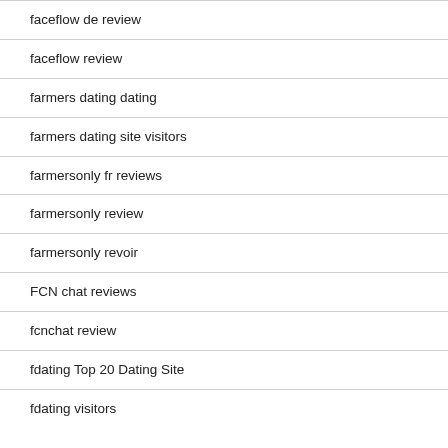faceflow de review
faceflow review
farmers dating dating
farmers dating site visitors
farmersonly fr reviews
farmersonly review
farmersonly revoir
FCN chat reviews
fcnchat review
fdating Top 20 Dating Site
fdating visitors